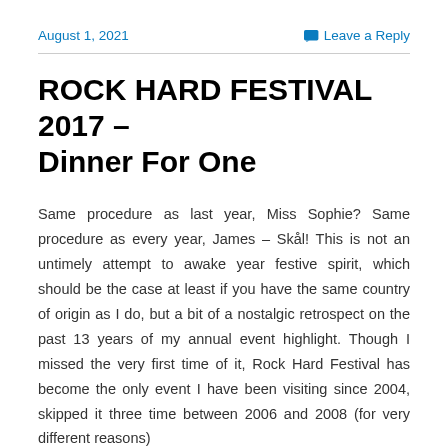August 1, 2021    Leave a Reply
ROCK HARD FESTIVAL 2017 – Dinner For One
Same procedure as last year, Miss Sophie? Same procedure as every year, James – Skål! This is not an untimely attempt to awake year festive spirit, which should be the case at least if you have the same country of origin as I do, but a bit of a nostalgic retrospect on the past 13 years of my annual event highlight. Though I missed the very first time of it, Rock Hard Festival has become the only event I have been visiting since 2004, skipped it three time between 2006 and 2008 (for very different reasons)